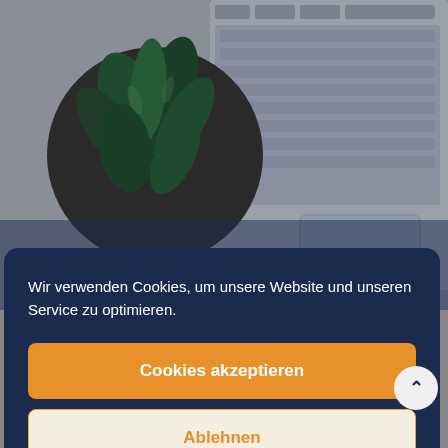[Figure (photo): Background photo of a laptop keyboard and a potted plant on a dark gray desk, viewed from above. The image is partially visible behind a cookie consent overlay.]
Wir verwenden Cookies, um unsere Website und unseren Service zu optimieren.
Cookies akzeptieren
Ablehnen
Einstellungen anzeigen
Datenschutz   Datenschutz   Impressum